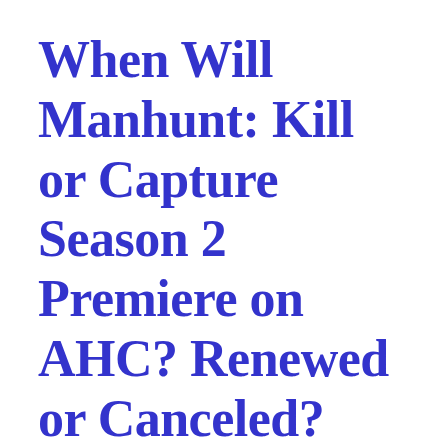When Will Manhunt: Kill or Capture Season 2 Premiere on AHC? Renewed or Canceled?